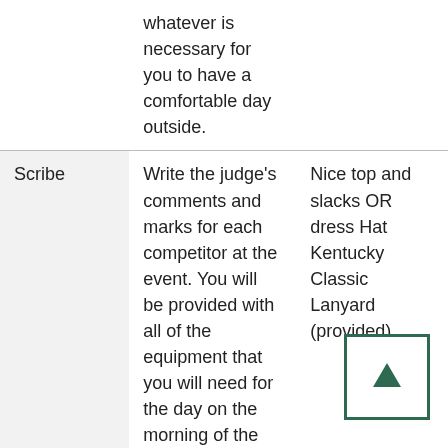|  | Description | Attire/Notes |
| --- | --- | --- |
|  | whatever is necessary for you to have a comfortable day outside. |  |
| Scribe | Write the judge's comments and marks for each competitor at the event. You will be provided with all of the equipment that you will need for the day on the morning of the event. You will be sitting with the | Nice top and slacks OR dress Hat Kentucky Classic Lanyard (provided) |